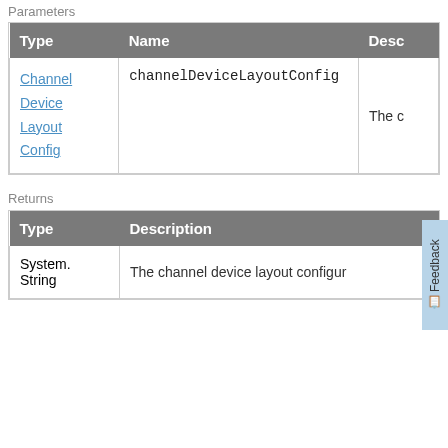Parameters
| Type | Name | Desc |
| --- | --- | --- |
| Channel Device Layout Config | channelDeviceLayoutConfig | The c |
Returns
| Type | Description |
| --- | --- |
| System. String | The channel device layout configur |